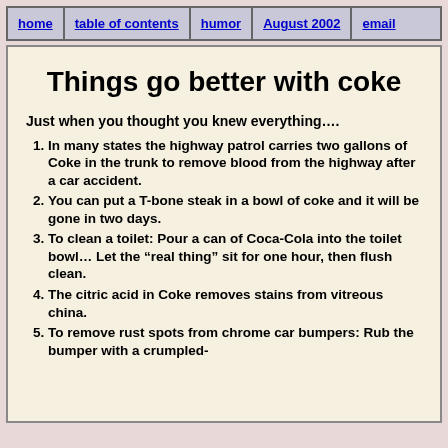home | table of contents | humor | August 2002 | email
Things go better with coke
Just when you thought you knew everything….
1. In many states the highway patrol carries two gallons of Coke in the trunk to remove blood from the highway after a car accident.
2. You can put a T-bone steak in a bowl of coke and it will be gone in two days.
3. To clean a toilet: Pour a can of Coca-Cola into the toilet bowl… Let the “real thing” sit for one hour, then flush clean.
4. The citric acid in Coke removes stains from vitreous china.
5. To remove rust spots from chrome car bumpers: Rub the bumper with a crumpled-